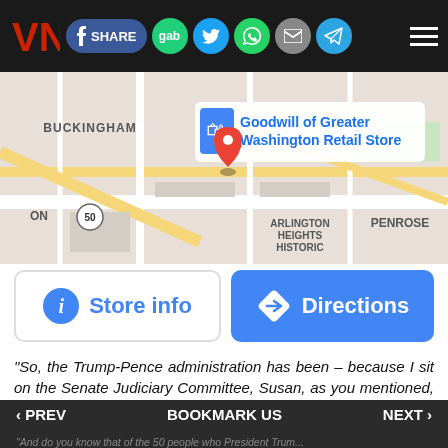[Figure (screenshot): Website navigation bar with logo, social share buttons (Facebook, Gab, Twitter, WhatsApp, Email, Telegram), and hamburger menu]
[Figure (map): Google Maps screenshot showing Goodwill of Greater Washington Retail Store location near Buckingham, Arlington Heights Historic, and Penrose neighborhoods, with a red location pin]
[Figure (screenshot): Store info button (white with blue icon) and Directions button (blue with white arrow icon)]
“So, the Trump-Pence administration has been – because I sit on the Senate Judiciary Committee, Susan, as you mentioned, and I’ve witnessed the appointments, for lifetime appointments to the federal courts, district courts, Courts of Appeal – people who are purely ideological people who have been reviewed by legal professional organizations and found to be not competent, are substandard.
‹ PREV    BOOKMARK US    NEXT ›